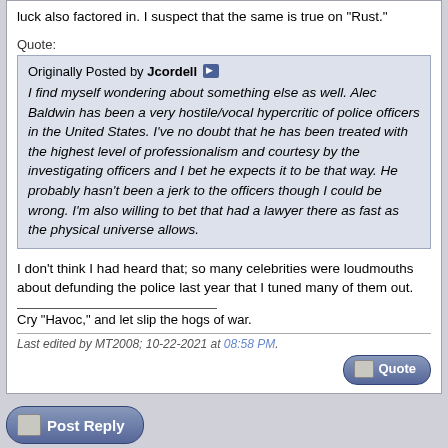luck also factored in. I suspect that the same is true on "Rust."
Quote:
Originally Posted by Jcordell
I find myself wondering about something else as well. Alec Baldwin has been a very hostile/vocal hypercritic of police officers in the United States. I've no doubt that he has been treated with the highest level of professionalism and courtesy by the investigating officers and I bet he expects it to be that way. He probably hasn't been a jerk to the officers though I could be wrong. I'm also willing to bet that had a lawyer there as fast as the physical universe allows.
I don't think I had heard that; so many celebrities were loudmouths about defunding the police last year that I tuned many of them out.
Cry "Havoc," and let slip the hogs of war.
Last edited by MT2008; 10-22-2021 at 08:58 PM.